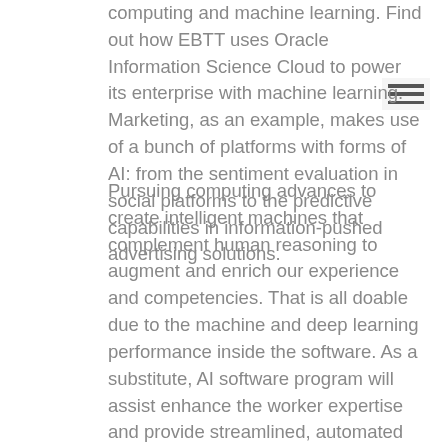computing and machine learning. Find out how EBTT uses Oracle Information Science Cloud to power its enterprise with machine learning. Marketing, as an example, makes use of a bunch of platforms with forms of AI: from the sentiment evaluation in social platforms to the predictive capabilities in information-pushed advertising solutions.
Pursuing computing advances to create intelligent machines that complement human reasoning to augment and enrich our experience and competencies. That is all doable due to the machine and deep learning performance inside the software. As a substitute, AI software program will assist enhance the worker expertise and provide streamlined, automated methods for workers to finish guide, mundane tasks. Earlier, Artificial intelligence was not much in use and it virtually appeared out of reach for a lot of app developers. Following further deliberations by the group in gentle of discussions on the European AI Alliance , a stakeholder session and meetings with